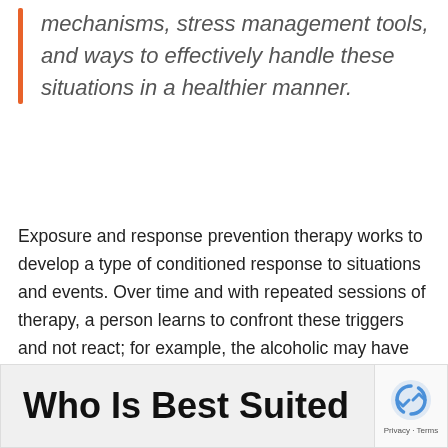mechanisms, stress management tools, and ways to effectively handle these situations in a healthier manner.
Exposure and response prevention therapy works to develop a type of conditioned response to situations and events. Over time and with repeated sessions of therapy, a person learns to confront these triggers and not react; for example, the alcoholic may have fewer cravings when shown a liquor bottle, and the OCD individual who is afraid of germs may have less anxiety about germs so there will be fewer obsessive hand washing episodes.
Who Is Best Suited